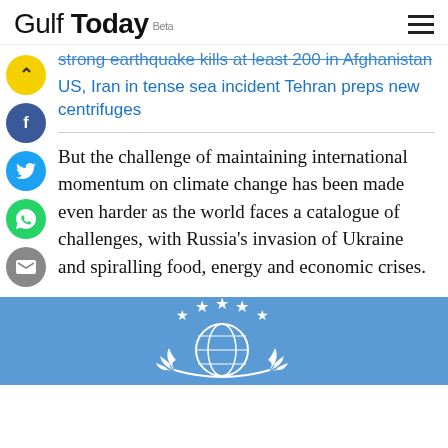Gulf Today Beta
Strong earthquake kills at least 200 in Afghanistan
US, Iran in tense sea incident Tehran preps new centrifuges
But the challenge of maintaining international momentum on climate change has been made even harder as the world faces a catalogue of challenges, with Russia's invasion of Ukraine and spiralling food, energy and economic crises.
[Figure (logo): United Nations emblem / logo on a blue background with white stars and olive branches]